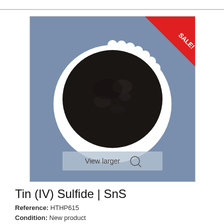[Figure (photo): A white scalloped paper plate holding dark brown/black Tin (IV) Sulfide powder, photographed from above on a blue-grey background. A red SALE! ribbon badge is in the top-right corner. A 'View larger' button overlay is at the bottom of the image.]
Tin (IV) Sulfide | SnS
Reference: HTHP615
Condition: New product